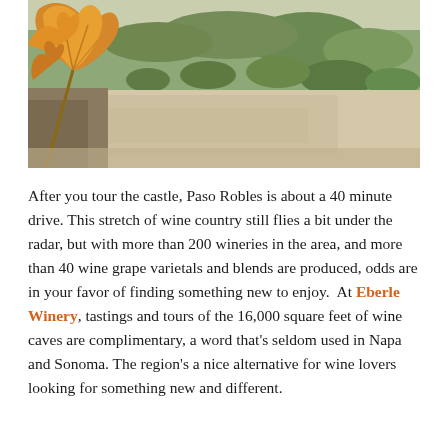[Figure (photo): Outdoor landscape photo showing a gravel path, dry scrubby hillside with green bushes and shrubs, and an autumn-colored grape vine leaf in the foreground on the left side.]
After you tour the castle, Paso Robles is about a 40 minute drive. This stretch of wine country still flies a bit under the radar, but with more than 200 wineries in the area, and more than 40 wine grape varietals and blends are produced, odds are in your favor of finding something new to enjoy.  At Eberle Winery, tastings and tours of the 16,000 square feet of wine caves are complimentary, a word that's seldom used in Napa and Sonoma. The region's a nice alternative for wine lovers looking for something new and different.